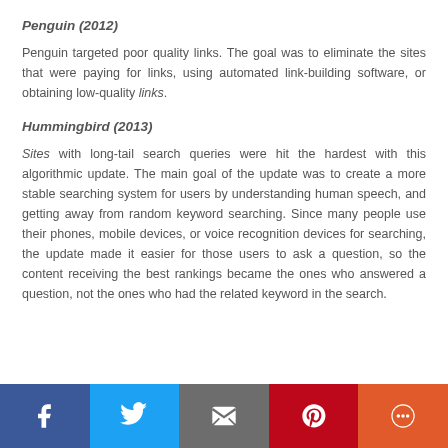Penguin (2012)
Penguin targeted poor quality links. The goal was to eliminate the sites that were paying for links, using automated link-building software, or obtaining low-quality links.
Hummingbird (2013)
Sites with long-tail search queries were hit the hardest with this algorithmic update. The main goal of the update was to create a more stable searching system for users by understanding human speech, and getting away from random keyword searching. Since many people use their phones, mobile devices, or voice recognition devices for searching, the update made it easier for those users to ask a question, so the content receiving the best rankings became the ones who answered a question, not the ones who had the related keyword in the search.
Social share bar: Facebook, Twitter, Email, Pinterest, Chat